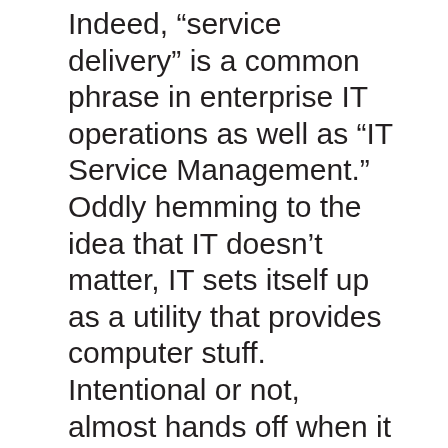Indeed, “service delivery” is a common phrase in enterprise IT operations as well as “IT Service Management.” Oddly hemming to the idea that IT doesn’t matter, IT sets itself up as a utility that provides computer stuff. Intentional or not, almost hands off when it comes to the business value of what they provide.
Just as we’re asking developers to focus on products, IT operations also needs to focus